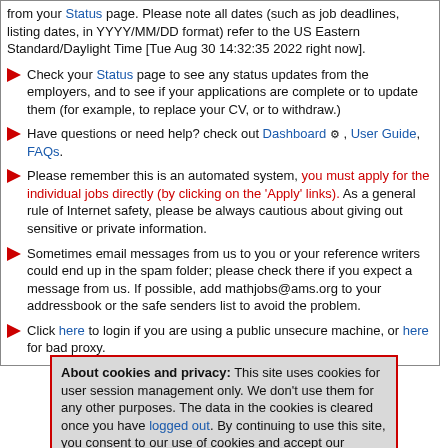from your Status page. Please note all dates (such as job deadlines, listing dates, in YYYY/MM/DD format) refer to the US Eastern Standard/Daylight Time [Tue Aug 30 14:32:35 2022 right now].
Check your Status page to see any status updates from the employers, and to see if your applications are complete or to update them (for example, to replace your CV, or to withdraw.)
Have questions or need help? check out Dashboard, User Guide, FAQs.
Please remember this is an automated system, you must apply for the individual jobs directly (by clicking on the 'Apply' links). As a general rule of Internet safety, please be always cautious about giving out sensitive or private information.
Sometimes email messages from us to you or your reference writers could end up in the spam folder; please check there if you expect a message from us. If possible, add mathjobs@ams.org to your addressbook or the safe senders list to avoid the problem.
Click here to login if you are using a public unsecure machine, or here for bad proxy.
About cookies and privacy: This site uses cookies for user session management only. We don't use them for any other purposes. The data in the cookies is cleared once you have logged out. By continuing to use this site, you consent to our use of cookies and accept our "Privacy Policy/Legal Statement" at the bottom of the home page.